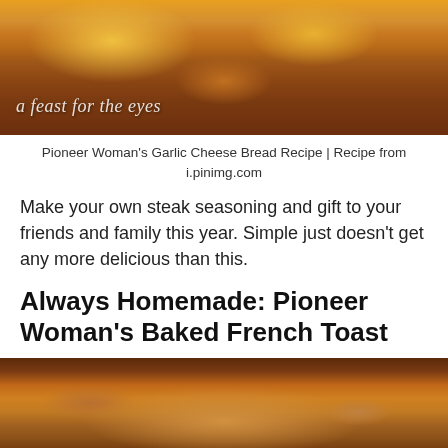[Figure (photo): Close-up photo of Pioneer Woman's Garlic Cheese Bread with melted cheese and green onions, with text overlay 'a feast for the eyes']
Pioneer Woman's Garlic Cheese Bread Recipe | Recipe from i.pinimg.com
Make your own steak seasoning and gift to your friends and family this year. Simple just doesn't get any more delicious than this.
Always Homemade: Pioneer Woman's Baked French Toast
[Figure (photo): Photo of Pioneer Woman's Baked French Toast in a glass baking dish, topped with cinnamon sugar]